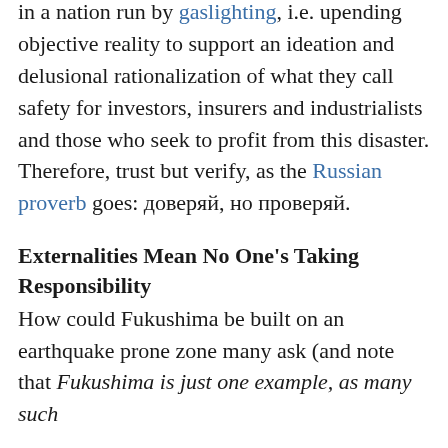in a nation run by gaslighting, i.e. upending objective reality to support an ideation and delusional rationalization of what they call safety for investors, insurers and industrialists and those who seek to profit from this disaster. Therefore, trust but verify, as the Russian proverb goes: доверяй, но проверяй.
Externalities Mean No One's Taking Responsibility
How could Fukushima be built on an earthquake prone zone many ask (and note that Fukushima is just one example, as many such